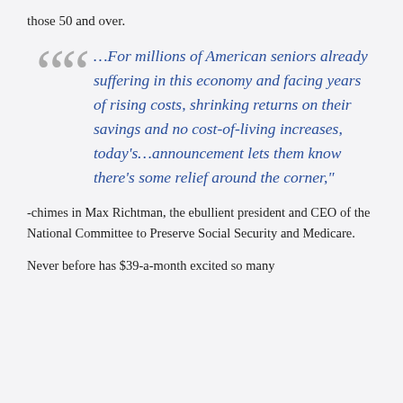those 50 and over.
“…For millions of American seniors already suffering in this economy and facing years of rising costs, shrinking returns on their savings and no cost-of-living increases, today’s…announcement lets them know there’s some relief around the corner,”
-chimes in Max Richtman, the ebullient president and CEO of the National Committee to Preserve Social Security and Medicare.
Never before has $39-a-month excited so many people. More often, the prospect of a guaranteed